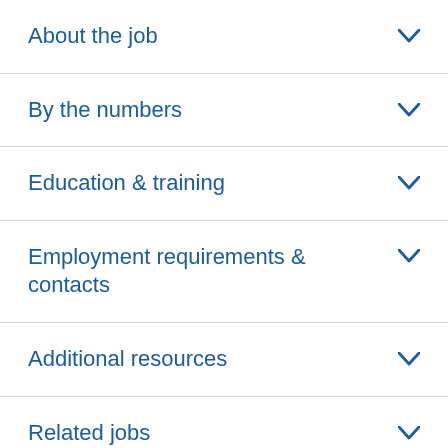About the job
By the numbers
Education & training
Employment requirements & contacts
Additional resources
Related jobs